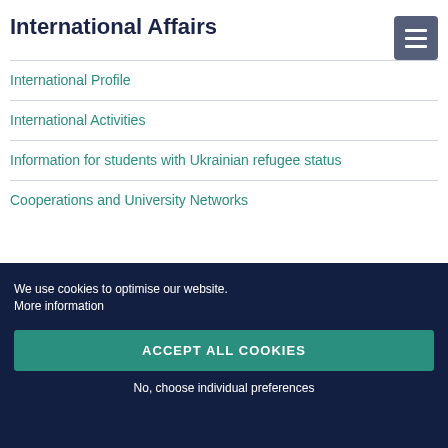International Affairs
International Profile
International Activities
Information for students with Ukrainian refugee status
Cooperations and University Networks
We use cookies to optimise our website. More information
ACCEPT ALL COOKIES
No, choose individual preferences